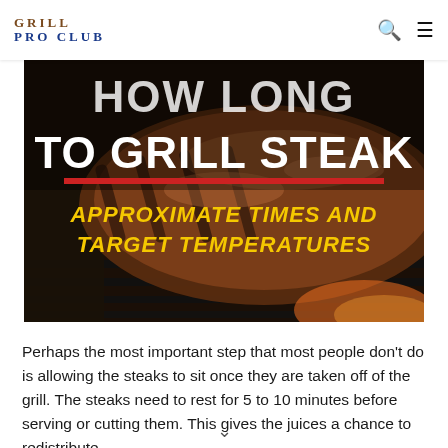GRILL PRO CLUB
[Figure (photo): Hero image of a grilled steak on grill grates with bold white text 'HOW LONG TO GRILL STEAK', a red horizontal rule, and yellow italic text 'APPROXIMATE TIMES AND TARGET TEMPERATURES']
Perhaps the most important step that most people don't do is allowing the steaks to sit once they are taken off of the grill. The steaks need to rest for 5 to 10 minutes before serving or cutting them. This gives the juices a chance to redistribute...